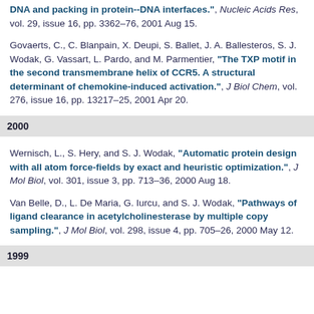DNA and packing in protein--DNA interfaces.", Nucleic Acids Res, vol. 29, issue 16, pp. 3362-76, 2001 Aug 15.
Govaerts, C., C. Blanpain, X. Deupi, S. Ballet, J. A. Ballesteros, S. J. Wodak, G. Vassart, L. Pardo, and M. Parmentier, "The TXP motif in the second transmembrane helix of CCR5. A structural determinant of chemokine-induced activation.", J Biol Chem, vol. 276, issue 16, pp. 13217-25, 2001 Apr 20.
2000
Wernisch, L., S. Hery, and S. J. Wodak, "Automatic protein design with all atom force-fields by exact and heuristic optimization.", J Mol Biol, vol. 301, issue 3, pp. 713-36, 2000 Aug 18.
Van Belle, D., L. De Maria, G. Iurcu, and S. J. Wodak, "Pathways of ligand clearance in acetylcholinesterase by multiple copy sampling.", J Mol Biol, vol. 298, issue 4, pp. 705-26, 2000 May 12.
1999